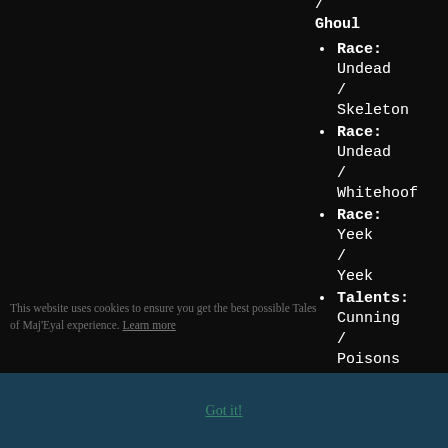/ Ghoul
Race: Undead / Skeleton
Race: Undead / Whitehoof
Race: Yeek / Yeek
Talents: Cunning / Poisons
Talents: Demented / Scourge
This website uses cookies to ensure you get the best possible Tales of Maj'Eyal experience. Learn more
Got it!